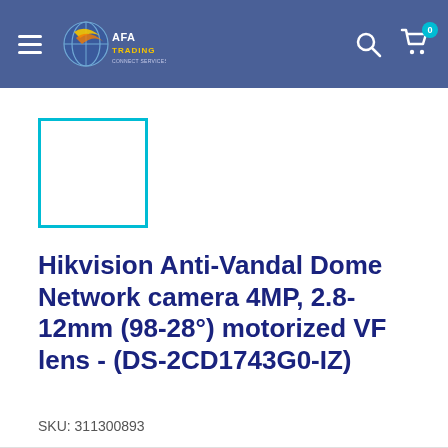AFA Trading — navigation header with logo, search, and cart (0 items)
[Figure (other): Product thumbnail placeholder — empty white box with teal/cyan border]
Hikvision Anti-Vandal Dome Network camera 4MP, 2.8-12mm (98-28°) motorized VF lens - (DS-2CD1743G0-IZ)
SKU: 311300893